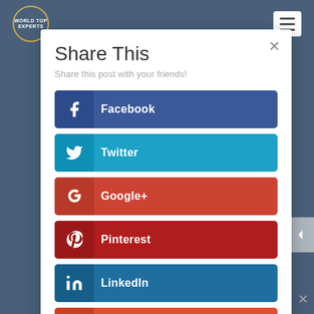[Figure (screenshot): Website header/navbar with WorldTop logo (circle with gold border) on the left and a hamburger menu button (white rectangle with three horizontal lines) on the right, on a dark blue-grey background.]
Share This
Share this post with your friends!
Facebook
Twitter
Google+
Pinterest
LinkedIn
StumbleUpon